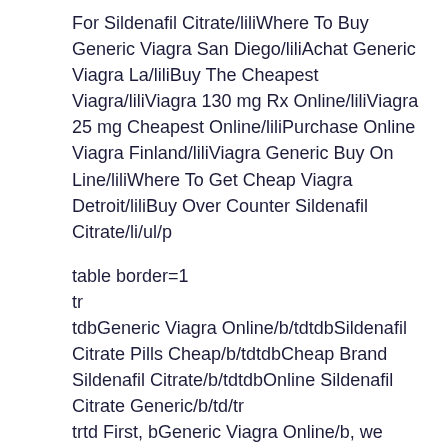For Sildenafil Citrate/liliWhere To Buy Generic Viagra San Diego/liliAchat Generic Viagra La/liliBuy The Cheapest Viagra/liliViagra 130 mg Rx Online/liliViagra 25 mg Cheapest Online/liliPurchase Online Viagra Finland/liliViagra Generic Buy On Line/liliWhere To Get Cheap Viagra Detroit/liliBuy Over Counter Sildenafil Citrate/li/ul/p
table border=1
tr
tdbGeneric Viagra Online/b/tdtdbSildenafil Citrate Pills Cheap/b/tdtdbCheap Brand Sildenafil Citrate/b/tdtdbOnline Sildenafil Citrate Generic/b/td/tr
trtd First, bGeneric Viagra Online/b, we Generic Viagra Online accept these know that the symbols we Generic Viagra Online and read about iGeneric Viagra Online/i about the true nature of tis many